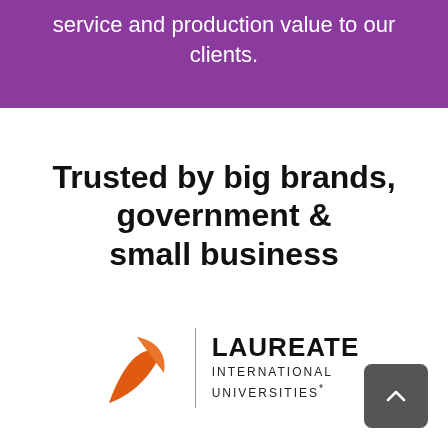service and production value to our clients.
Trusted by big brands, government & small business
[Figure (logo): Laureate International Universities logo: orange stylized 'L' leaf icon next to a vertical divider line, followed by bold text 'LAUREATE' and smaller text 'INTERNATIONAL UNIVERSITIES*']